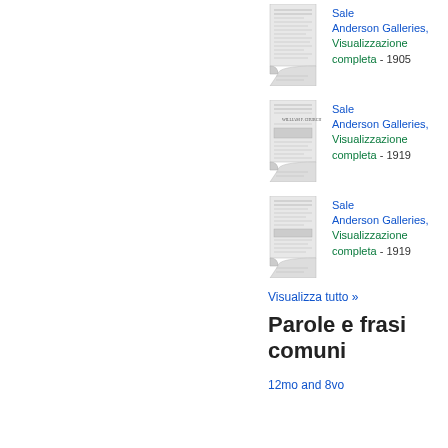[Figure (illustration): Thumbnail of a document page for Sale Anderson Galleries 1905]
Sale Anderson Galleries, Visualizzazione completa - 1905
[Figure (illustration): Thumbnail of a document page for Sale Anderson Galleries 1919]
Sale Anderson Galleries, Visualizzazione completa - 1919
[Figure (illustration): Thumbnail of a document page for Sale Anderson Galleries 1919]
Sale Anderson Galleries, Visualizzazione completa - 1919
Visualizza tutto »
Parole e frasi comuni
12mo and 8vo